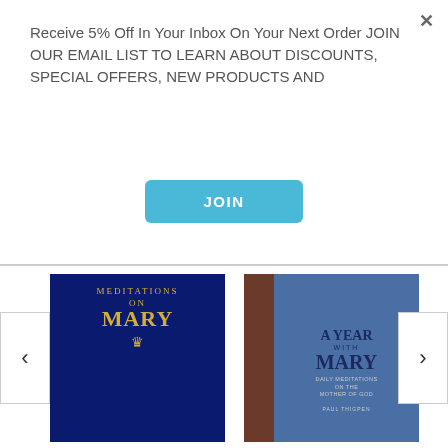Receive 5% Off In Your Inbox On Your Next Order JOIN OUR EMAIL LIST TO LEARN ABOUT DISCOUNTS, SPECIAL OFFERS, NEW PRODUCTS AND
JOIN
[Figure (photo): Book cover of Meditations on Mary by Jacques-Benigne Bossuet, dark navy blue cover with gold title text and crown symbol]
Meditations on Mary
Bishop Jacques-Benigne Bossuet
CAD $17.95
CAD $16.15
[Figure (photo): Book cover of A Year with Mary: Daily Meditations on the Mother of God (Premium UltraSoft), blue leatherette cover with brown spine]
A Year with Mary: Daily Meditations on the Mother of God (Premium UltraSoft)
CAD $62.95